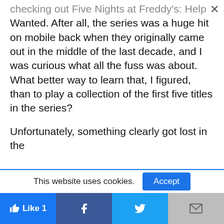checking out Five Nights at Freddy's: Help Wanted. After all, the series was a huge hit on mobile back when they originally came out in the middle of the last decade, and I was curious what all the fuss was about. What better way to learn that, I figured, than to play a collection of the first five titles in the series?

Unfortunately, something clearly got lost in the
This website uses cookies.
Accept
Like 1